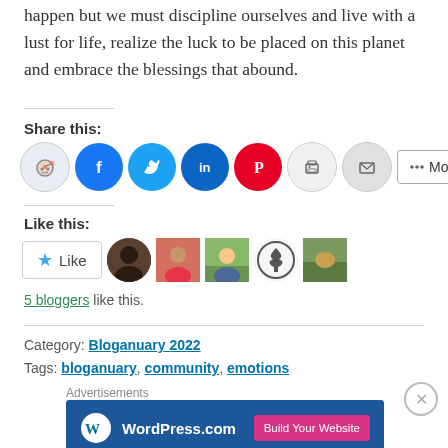happen but we must discipline ourselves and live with a lust for life, realize the luck to be placed on this planet and embrace the blessings that abound.
Share this:
[Figure (infographic): Social sharing icons: Reddit, Facebook, Twitter, LinkedIn, Pinterest, Print, Email, and a More button]
Like this:
[Figure (infographic): Like button and 4 blogger avatar thumbnails]
5 bloggers like this.
Category: Bloganuary 2022
Tags: bloganuary, community, emotions
Advertisements
[Figure (screenshot): WordPress.com advertisement banner with Build Your Website button]